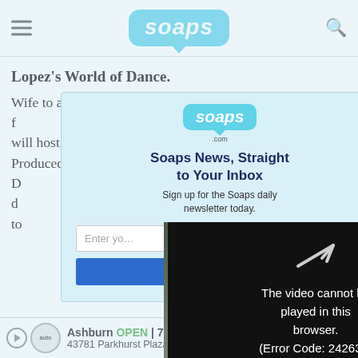soaps
Lopez's World of Dance.
Wife to actor Channing Tatum (“Magic Mike” films) and f… he Restless” actress Jen… 2004) will host NBC’s … ance competition … ” Produced by Jennifer … as a judge alongside D… Stars”) and … will follow d… they are judged fo… and athleticism to… million dollar prize. Stay tuned to NBC’s spring
[Figure (screenshot): Newsletter signup popup for Soaps.com with title 'Soaps News, Straight to Your Inbox', subtitle 'Sign up for the Soaps daily newsletter today.', an email input field and a submit button.]
[Figure (screenshot): Video player error overlay with arrow/play icon and text: 'The video cannot be played in this browser. (Error Code: 242632)']
Ashburn OPEN 7:30AM–6PM 43781 Parkhurst Plaza, Ashburn